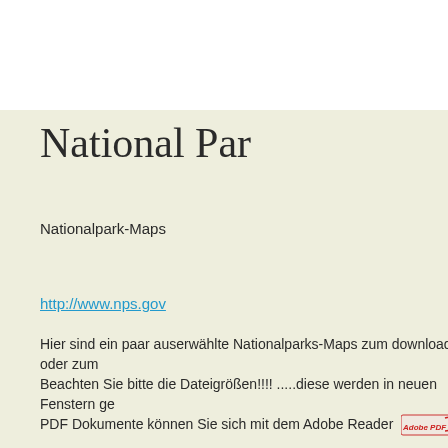National Par
Nationalpark-Maps
http://www.nps.gov
Hier sind ein paar auserwählte Nationalparks-Maps zum download oder zum
Beachten Sie bitte die Dateigrößen!!!! .....diese werden in neuen Fenstern ge
PDF Dokumente können Sie sich mit dem Adobe Reader